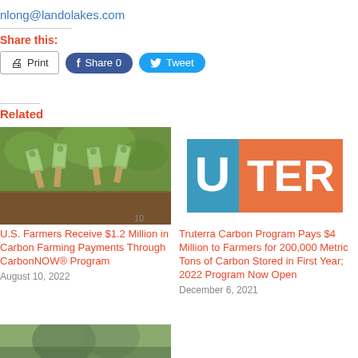nlong@landolakes.com
Share this:
Print | Share 0 | Tweet
Related
[Figure (photo): Dollar bills folded like plants growing out of soil]
U.S. Farmers Receive $1.2 Million in Carbon Farming Payments Through CarbonNOW® Program
August 10, 2022
[Figure (logo): Truterra logo: blue square with white U and orange rectangle with white TER]
Truterra Carbon Program Pays $4 Million to Farmers for 200,000 Metric Tons of Carbon Stored in First Year; 2022 Program Now Open
December 6, 2021
[Figure (photo): Partial image at bottom of page, people outdoors]